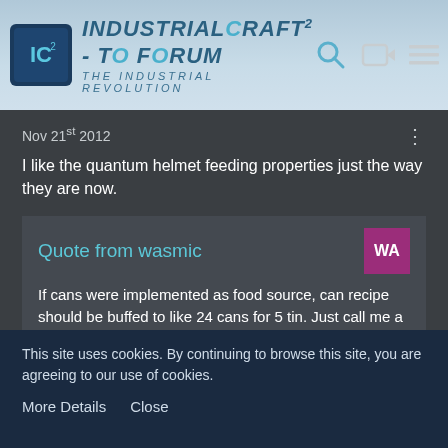IndustrialCraft² - The Forum · The Industrial Revolution
Nov 21st 2012
I like the quantum helmet feeding properties just the way they are now.
Quote from wasmic
If cans were implemented as food source, can recipe should be buffed to like 24 cans for 5 tin. Just call me a tinpincher, but 4 cans for 5 tin is waaaay too low.

EDIT: I think i heard something about the cans being given back when eaten. I am in no position to test
This site uses cookies. By continuing to browse this site, you are agreeing to our use of cookies. More Details  Close